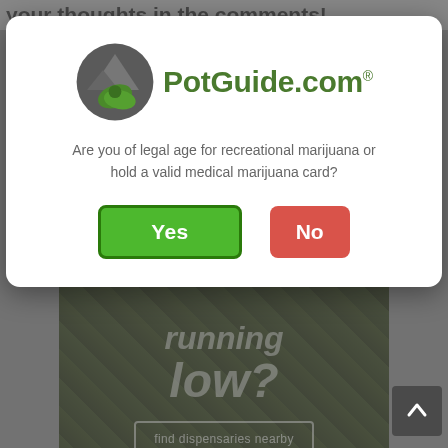your thoughts in the comments!
[Figure (screenshot): PotGuide.com age verification modal dialog over a cannabis website background. The modal has the PotGuide.com logo (mountain/leaf icon with green text), question asking about legal age or valid medical marijuana card, with Yes (green) and No (red) buttons. Behind the modal is a dark advertisement showing jars of cannabis with text 'running low?' and 'find dispensaries nearby' button with small PotGuide logo.]
[Figure (photo): Scroll-to-top button in bottom right corner, dark gray square with upward-pointing chevron arrow]